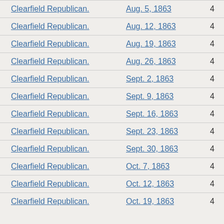| Publication | Date | Pages |
| --- | --- | --- |
| Clearfield Republican. | Aug. 5, 1863 | 4 |
| Clearfield Republican. | Aug. 12, 1863 | 4 |
| Clearfield Republican. | Aug. 19, 1863 | 4 |
| Clearfield Republican. | Aug. 26, 1863 | 4 |
| Clearfield Republican. | Sept. 2, 1863 | 4 |
| Clearfield Republican. | Sept. 9, 1863 | 4 |
| Clearfield Republican. | Sept. 16, 1863 | 4 |
| Clearfield Republican. | Sept. 23, 1863 | 4 |
| Clearfield Republican. | Sept. 30, 1863 | 4 |
| Clearfield Republican. | Oct. 7, 1863 | 4 |
| Clearfield Republican. | Oct. 12, 1863 | 4 |
| Clearfield Republican. | Oct. 19, 1863 | 4 |